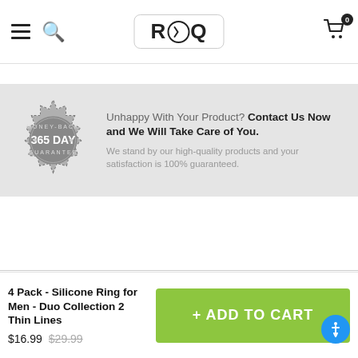ROQ — navigation header with hamburger menu, search, logo, and cart (0 items)
[Figure (logo): ROQ brand logo in a rounded rectangle]
Unhappy With Your Product? Contact Us Now and We Will Take Care of You.
We stand by our high-quality products and your satisfaction is 100% guaranteed.
Secure Checkout
We use encrypted SSL security to ensure that your credit card information is 100% protected.
4 Pack - Silicone Ring for Men - Duo Collection 2 Thin Lines
$16.99 $29.99
+ ADD TO CART